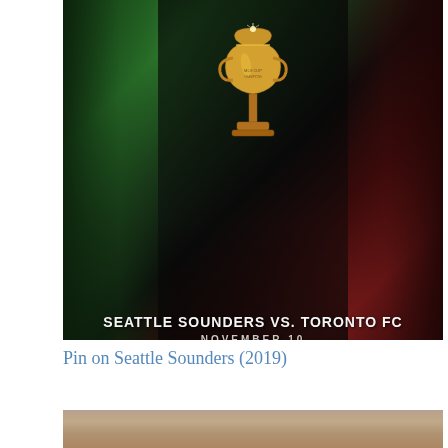[Figure (photo): MLS Cup promotional image showing Seattle Sounders vs Toronto FC matchup. Two players face each other flanking a golden MLS Cup trophy in the center. Left player wears green Sounders jersey, right player wears red Toronto FC jersey. Text overlay reads 'SEATTLE SOUNDERS VS. TORONTO FC' and 'NOVEMBER 10'.]
Pin on Seattle Sounders (2019)
[Figure (photo): Partial photo of a soccer player, showing head and upper body, photographed against a blurred crowd background.]